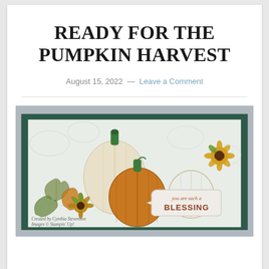READY FOR THE PUMPKIN HARVEST
August 15, 2022 — Leave a Comment
[Figure (photo): Handmade greeting card with pumpkins, sunflowers, and autumn leaves. Text on card reads 'you are such a BLESSING'. Card has a dark green mat on gray background. Bottom corner text: Created by Cynthia Stevenson, Images © Stampin' Up!]